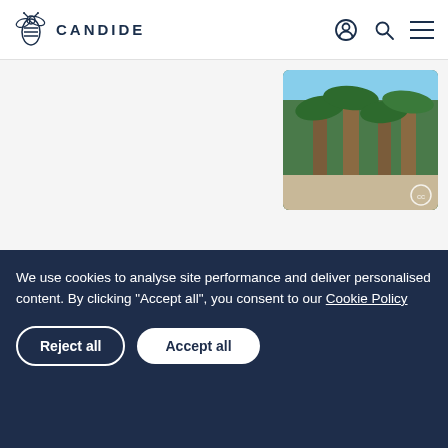CANDIDE
[Figure (photo): Tall palm trees in an outdoor garden setting with sandy ground and blue sky]
We use cookies to analyse site performance and deliver personalised content. By clicking “Accept all”, you consent to our Cookie Policy
Reject all
Accept all